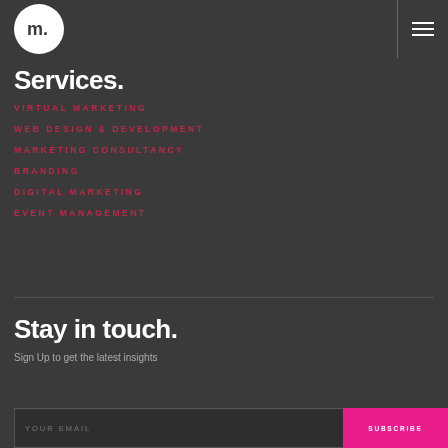m. [logo] [hamburger menu]
Services.
VIRTUAL MARKETING
WEB DESIGN & DEVELOPMENT
MARKETING CONSULTANCY
BRANDING
DIGITAL MARKETING
EVENT MANAGEMENT
Stay in touch.
Sign Up to get the latest insights
YOUR EMAIL | SUBSCRIBE